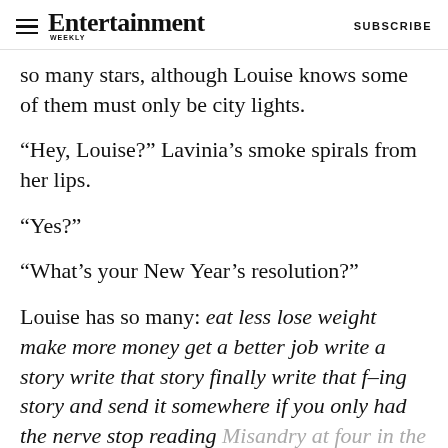Entertainment Weekly | SUBSCRIBE
so many stars, although Louise knows some of them must only be city lights.
“Hey, Louise?” Lavinia’s smoke spirals from her lips.
“Yes?”
“What’s your New Year’s resolution?”
Louise has so many: eat less lose weight make more money get a better job write a story write that story finally write that f–ing story and send it somewhere if you only had the nerve stop reading Misandry at four in the morning when you can’t sleep read an actual f–ing book sometimes go to the